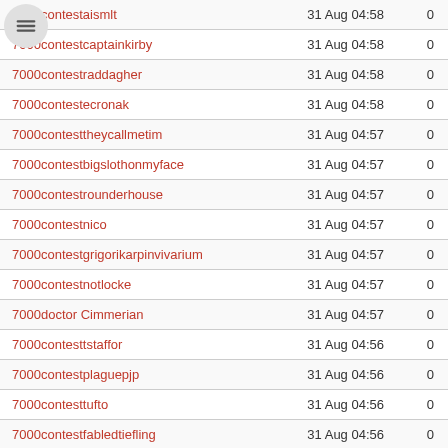| Username | Date | Count |
| --- | --- | --- |
| 7000contestaismlt | 31 Aug 04:58 | 0 |
| 7000contestcaptainkirby | 31 Aug 04:58 | 0 |
| 7000contestraddagher | 31 Aug 04:58 | 0 |
| 7000contestecronak | 31 Aug 04:58 | 0 |
| 7000contesttheycallmetim | 31 Aug 04:57 | 0 |
| 7000contestbigslothonmyface | 31 Aug 04:57 | 0 |
| 7000contestrounderhouse | 31 Aug 04:57 | 0 |
| 7000contestnico | 31 Aug 04:57 | 0 |
| 7000contestgrigorikarpinvivarium | 31 Aug 04:57 | 0 |
| 7000contestnotlocke | 31 Aug 04:57 | 0 |
| 7000doctor Cimmerian | 31 Aug 04:57 | 0 |
| 7000contesttstaffor | 31 Aug 04:56 | 0 |
| 7000contestplaguepjp | 31 Aug 04:56 | 0 |
| 7000contesttufto | 31 Aug 04:56 | 0 |
| 7000contestfabledtiefling | 31 Aug 04:56 | 0 |
| 7000contestzyn | 31 Aug 04:56 | 0 |
| 7000contestyossipossi | 31 Aug 04:56 | 0 |
| 7000conteststormflops | 31 Aug 04:14 | 0 |
| 7000contestjaykillbam | 31 Aug 03:56 | 0 |
| 7000contestfantem | 31 Aug 03:56 | 0 |
| 7000contestswodax | 31 Aug 03:56 | 0 |
| 7000contesteleneedodotruck | 31 Aug 03:55 | 0 |
| 7000contestnitra147 | 31 Aug 03:55 | 0 |